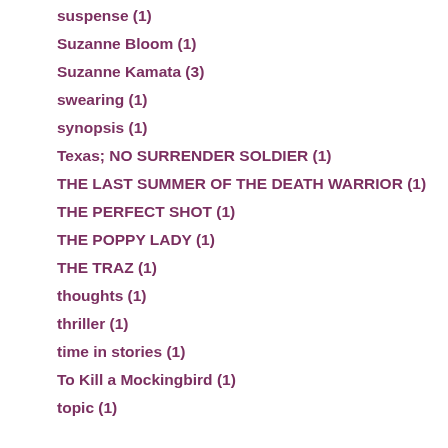suspense (1)
Suzanne Bloom (1)
Suzanne Kamata (3)
swearing (1)
synopsis (1)
Texas; NO SURRENDER SOLDIER (1)
THE LAST SUMMER OF THE DEATH WARRIOR (1)
THE PERFECT SHOT (1)
THE POPPY LADY (1)
THE TRAZ (1)
thoughts (1)
thriller (1)
time in stories (1)
To Kill a Mockingbird (1)
topic (1)